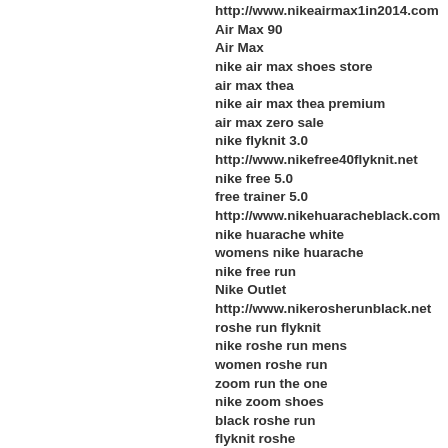http://www.nikeairmax1in2014.com
Air Max 90
Air Max
nike air max shoes store
air max thea
nike air max thea premium
air max zero sale
nike flyknit 3.0
http://www.nikefree40flyknit.net
nike free 5.0
free trainer 5.0
http://www.nikehuaracheblack.com
nike huarache white
womens nike huarache
nike free run
Nike Outlet
http://www.nikerosherunblack.net
roshe run flyknit
nike roshe run mens
women roshe run
zoom run the one
nike zoom shoes
black roshe run
flyknit roshe
roshe run men
http://www.rosherunwomen.org
http://www.roshes.net
Louis Vuitton Outlet Handbags
Louis Vuitton Outlet Stores
23isback